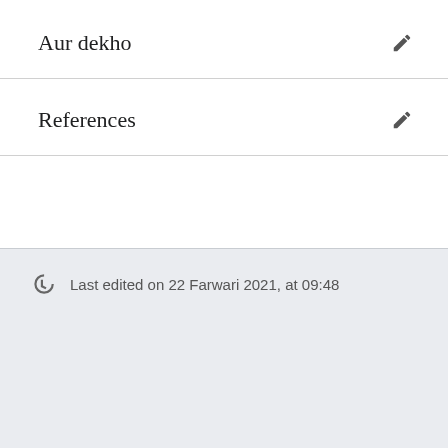Aur dekho
References
Last edited on 22 Farwari 2021, at 09:48